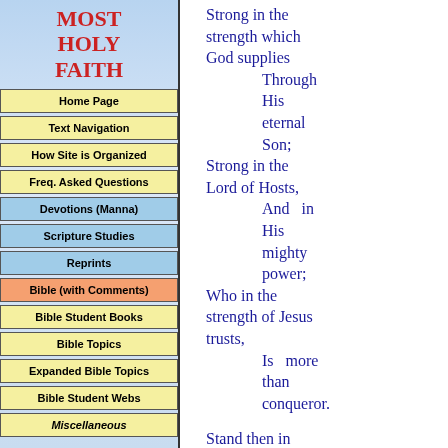MOST HOLY FAITH
Home Page
Text Navigation
How Site is Organized
Freq. Asked Questions
Devotions (Manna)
Scripture Studies
Reprints
Bible (with Comments)
Bible Student Books
Bible Topics
Expanded Bible Topics
Bible Student Webs
Miscellaneous
Strong in the strength which God supplies Through His eternal Son; Strong in the Lord of Hosts, And in His mighty power; Who in the strength of Jesus trusts, Is more than conqueror.

Stand then in